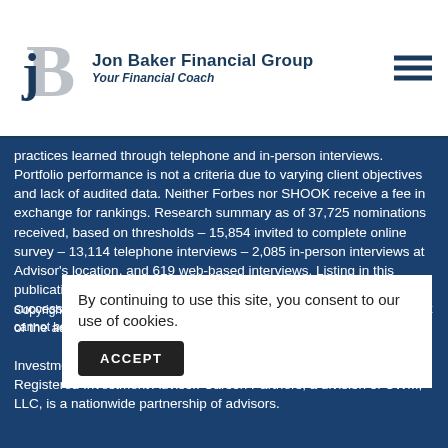Jon Baker Financial Group — Your Financial Coach
practices learned through telephone and in-person interviews. Portfolio performance is not a criteria due to varying client objectives and lack of audited data. Neither Forbes nor SHOOK receive a fee in exchange for rankings. Research summary as of 37,725 nominations received, based on thresholds – 15,854 invited to complete online survey – 13,114 telephone interviews – 2,085 in-person interviews at Advisor's location, and 619 web-based interviews. Listing in this publication and/or award is not a guarantee of future investment success. This recognition should not be construed as an endorsement of the advisor by any client.
Investment advisory services offered through CWM, LLC, an SEC Registered Investment Advisor. Carson Partners, a division of CWM, LLC, is a nationwide partnership of advisors.
Copyright 2022, Jon Baker Financial Group. All rights reserved. This content cannot be...
By continuing to use this site, you consent to our use of cookies.